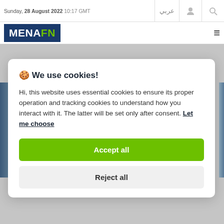Sunday, 28 August 2022 10:17 GMT
[Figure (logo): MENAFN logo — dark navy background with white MENA and green FN text]
🍪 We use cookies!

Hi, this website uses essential cookies to ensure its proper operation and tracking cookies to understand how you interact with it. The latter will be set only after consent. Let me choose
Accept all
Reject all